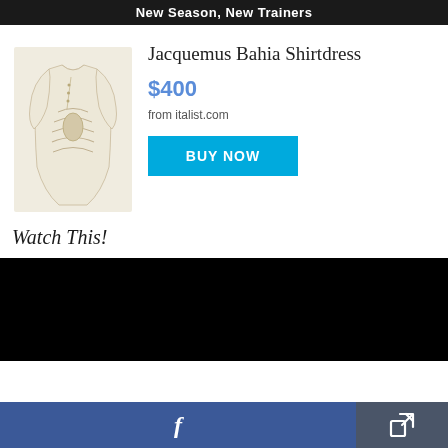New Season, New Trainers
Jacquemus Bahia Shirtdress
[Figure (photo): Cream/beige Jacquemus Bahia Shirtdress with ruched front detail, long sleeves]
$400
from italist.com
BUY NOW
Watch This!
[Figure (screenshot): Black video player area]
f  [Facebook share button]  [Share/export button]